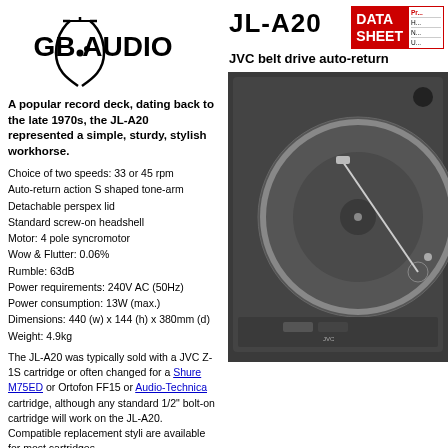[Figure (logo): GB Audio logo with stylized tuning fork/wave graphic and company name in bold black text]
A popular record deck, dating back to the late 1970s, the JL-A20 represented a simple, sturdy, stylish workhorse.
Choice of two speeds: 33 or 45 rpm
Auto-return action S shaped tone-arm
Detachable perspex lid
Standard screw-on headshell
Motor: 4 pole syncromotor
Wow & Flutter: 0.06%
Rumble: 63dB
Power requirements: 240V AC (50Hz)
Power consumption: 13W (max.)
Dimensions: 440 (w) x 144 (h) x 380mm (d)
Weight: 4.9kg
The JL-A20 was typically sold with a JVC Z-1S cartridge or often changed for a Shure M75ED or Ortofon FF15 or Audio-Technica cartridge, although any standard 1/2" bolt-on cartridge will work on the JL-A20. Compatible replacement styli are available for most cartridges.
JL-A20
[Figure (other): DATA SHEET label box with red background and side column with product category lines]
JVC belt drive auto-return
[Figure (photo): Photo of JVC JL-A20 turntable record deck, black finish, top view showing platter and tonearm]
Turntable Showing 33 and...